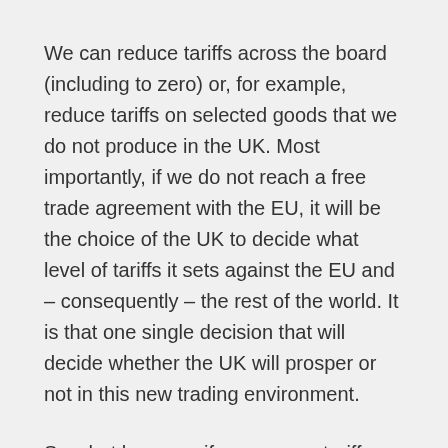We can reduce tariffs across the board (including to zero) or, for example, reduce tariffs on selected goods that we do not produce in the UK. Most importantly, if we do not reach a free trade agreement with the EU, it will be the choice of the UK to decide what level of tariffs it sets against the EU and – consequently – the rest of the world. It is that one single decision that will decide whether the UK will prosper or not in this new trading environment.
So what happens if we remove tariffs against the EU (and the rest of the world), even if the EU (and the rest of the world) does not reciprocate? In summary, a standard world trade model shows